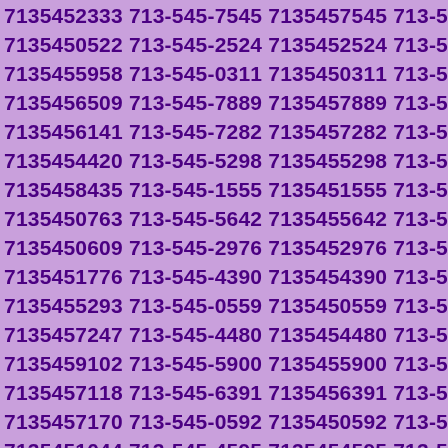7135452333 713-545-7545 7135457545 713-545-0522 7135450522 713-545-2524 7135452524 713-545-5958 7135455958 713-545-0311 7135450311 713-545-6509 7135456509 713-545-7889 7135457889 713-545-6141 7135456141 713-545-7282 7135457282 713-545-4420 7135454420 713-545-5298 7135455298 713-545-8435 7135458435 713-545-1555 7135451555 713-545-0763 7135450763 713-545-5642 7135455642 713-545-0609 7135450609 713-545-2976 7135452976 713-545-1776 7135451776 713-545-4390 7135454390 713-545-5293 7135455293 713-545-0559 7135450559 713-545-7247 7135457247 713-545-4480 7135454480 713-545-9102 7135459102 713-545-5900 7135455900 713-545-7118 7135457118 713-545-6391 7135456391 713-545-7170 7135457170 713-545-0592 7135450592 713-545-1044 7135451044 713-545-4595 7135454595 713-545-9645 7135459645 713-545-8247 7135458247 713-545-4686 7135454686 713-545-7546 7135457546 713-545-6748 7135456748 713-545-3360 7135453360 713-545-4028 7135454028 713-545-3783 7135453783 713-545-8654 7135458654 713-545-4265 7135454265 713-545-2216